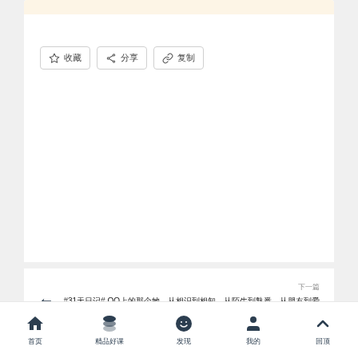[Figure (screenshot): Light beige/cream colored banner image at top of card]
☆ 收藏
< 分享
🔗 复制
下一篇
#31天日记# QQ上的那个她，从相识到相知，从陌生到熟悉+从朋友到爱人
首页  精品好课  发现  我的  回顶